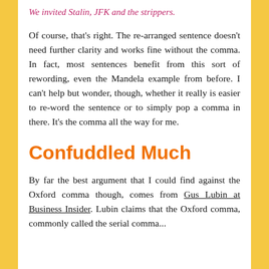We invited Stalin, JFK and the strippers.
Of course, that's right. The re-arranged sentence doesn't need further clarity and works fine without the comma. In fact, most sentences benefit from this sort of rewording, even the Mandela example from before. I can't help but wonder, though, whether it really is easier to reword the sentence or to simply pop a comma in there. It's the comma all the way for me.
Confuddled Much
By far the best argument that I could find against the Oxford comma though, comes from Gus Lubin at Business Insider. Lubin claims that the Oxford comma...